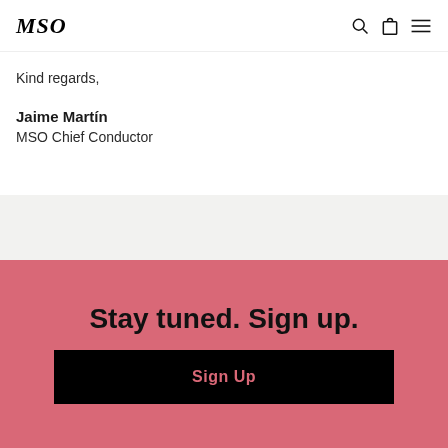MSO
Kind regards,
Jaime Martín
MSO Chief Conductor
Stay tuned. Sign up.
Sign Up